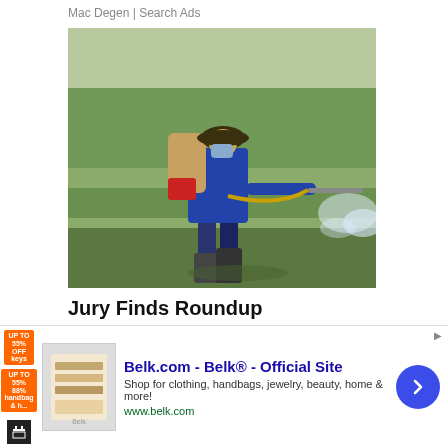Mac Degen | Search Ads
[Figure (photo): A farm worker wearing a wide-brim hat and face mask, carrying a backpack pesticide sprayer, spraying herbicide (likely Roundup/glyphosate) over a green rice paddy field. The spray creates a mist cloud near ground level.]
Jury Finds Roundup Responsible For Lymphoma | Bayer To Pay $10 Billion
[Figure (infographic): Advertisement banner: Belk.com - Belk® - Official Site. Shop for clothing, handbags, jewelry, beauty, home & more! www.belk.com. Includes thumbnail image of products and a blue circular arrow button. Has orange discount badge icons on the left side.]